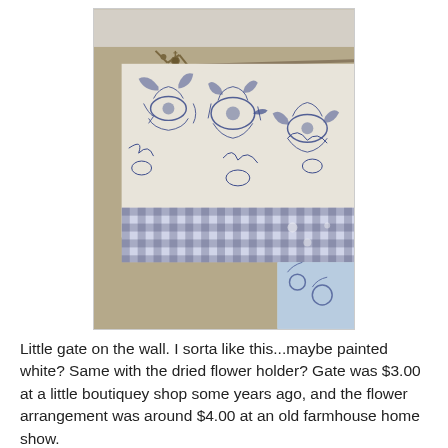[Figure (photo): A window valance with blue and white floral toile fabric on top and a blue and white gingham/checkered border at the bottom, hanging in a room with tan/beige walls. A small decorative gate piece is visible on the upper left, and a bright window is partially visible at the lower right.]
Little gate on the wall. I sorta like this...maybe painted white? Same with the dried flower holder? Gate was $3.00 at a little boutiquey shop some years ago, and the flower arrangement was around $4.00 at an old farmhouse home show.